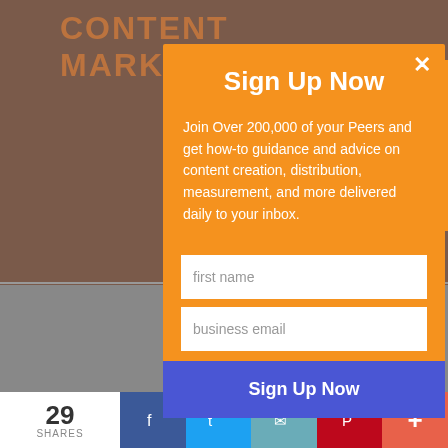[Figure (screenshot): Background webpage with orange header text 'CONTENT MARKETING IN...' partially visible, grey content area, social share icons, and footer bar with 29 shares]
Sign Up Now
Join Over 200,000 of your Peers and get how-to guidance and advice on content creation, distribution, measurement, and more delivered daily to your inbox.
first name
business email
Sign Up Now
Recommended for you >